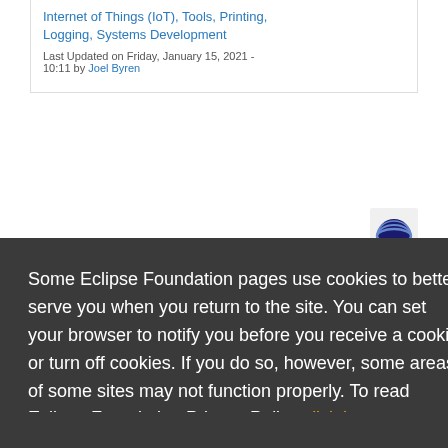Internet of Things (IoT), Tools, Printing, Logging, Systems Development
Last Updated on Friday, January 15, 2021 - 10:11 by Joel Byren
Some Eclipse Foundation pages use cookies to better serve you when you return to the site. You can set your browser to notify you before you receive a cookie or turn off cookies. If you do so, however, some areas of some sites may not function properly. To read Eclipse Foundation Privacy Policy click here.
Decline
Allow cookies
C-Sky Development Suite